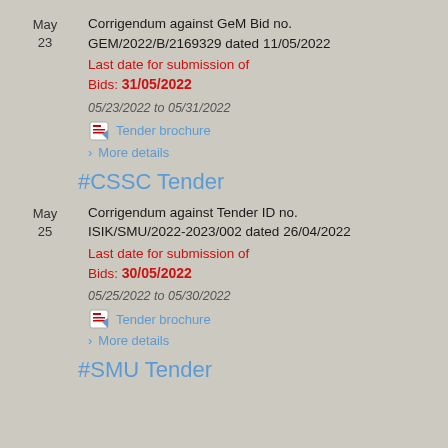May 23 — Corrigendum against GeM Bid no. GEM/2022/B/2169329 dated 11/05/2022. Last date for submission of Bids: 31/05/2022
05/23/2022 to 05/31/2022
Tender brochure
More details
#CSSC Tender
May 25 — Corrigendum against Tender ID no. ISIK/SMU/2022-2023/002 dated 26/04/2022. Last date for submission of Bids: 30/05/2022
05/25/2022 to 05/30/2022
Tender brochure
More details
#SMU Tender